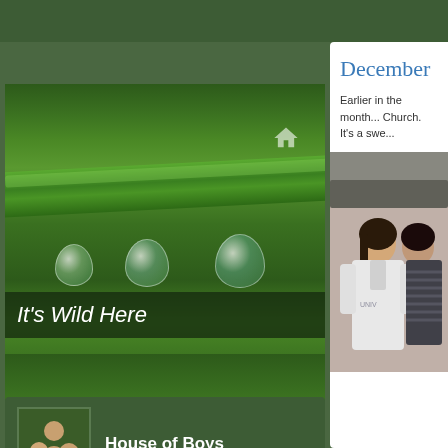[Figure (photo): Close-up photo of a green plant stem with water droplets hanging below it, against a blurred green background]
It's Wild Here
[Figure (photo): Profile avatar showing a man with two boys outdoors]
House of Boys
1,196 FOLLOWING
43 FOLLOWERS
Follow
December
Earlier in the month... Church.  It's a swe...
[Figure (photo): Photo of a woman in a white hoodie sweatshirt standing indoors]